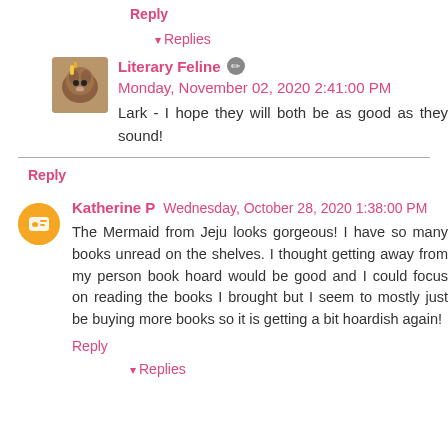Reply
▾ Replies
Literary Feline ✏ Monday, November 02, 2020 2:41:00 PM
Lark - I hope they will both be as good as they sound!
Reply
Katherine P  Wednesday, October 28, 2020 1:38:00 PM
The Mermaid from Jeju looks gorgeous! I have so many books unread on the shelves. I thought getting away from my person book hoard would be good and I could focus on reading the books I brought but I seem to mostly just be buying more books so it is getting a bit hoardish again!
Reply
▾ Replies